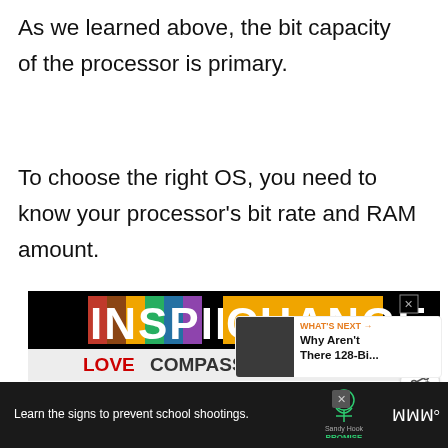As we learned above, the bit capacity of the processor is primary.
To choose the right OS, you need to know your processor’s bit rate and RAM amount.
[Figure (screenshot): Advertisement banner for INSPIRE CHANGE with rainbow-colored text on black background. Tagline reads: LOVE COMPASSION CHARITY BELONGING. Heart button and share button visible on right side.]
[Figure (screenshot): What's Next panel showing Why Aren't There 128-Bi... with thumbnail image]
[Figure (screenshot): Bottom advertisement bar: Learn the signs to prevent school shootings. Sandy Hook Promise logo. Close button.]